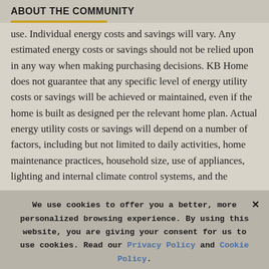ABOUT THE COMMUNITY
use. Individual energy costs and savings will vary. Any estimated energy costs or savings should not be relied upon in any way when making purchasing decisions. KB Home does not guarantee that any specific level of energy utility costs or savings will be achieved or maintained, even if the home is built as designed per the relevant home plan. Actual energy utility costs or savings will depend on a number of factors, including but not limited to daily activities, home maintenance practices, household size, use of appliances, lighting and internal climate control systems, and the
We use cookies to offer you a better, more personalized browsing experience. By using this website, you are giving your consent for us to use cookies. Read our Privacy Policy and Cookie Policy.